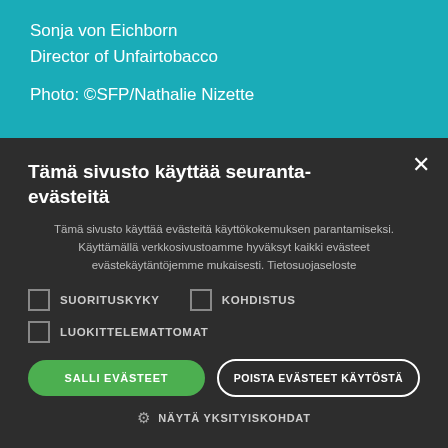Sonja von Eichborn
Director of Unfairtobacco
Photo: ©SFP/Nathalie Nizette
Tämä sivusto käyttää seuranta-evästeitä
Tämä sivusto käyttää evästeitä käyttökokemuksen parantamiseksi. Käyttämällä verkkosivustoamme hyväksyt kaikki evästeet evästekäytäntöjemme mukaisesti. Tietosuojaseloste
SUORITUSKYKY   KOHDISTUS
LUOKITTELEMATTOMAT
SALLI EVÄSTEET
POISTA EVÄSTEET KÄYTÖSTÄ
NÄYTÄ YKSITYISKOHDAT